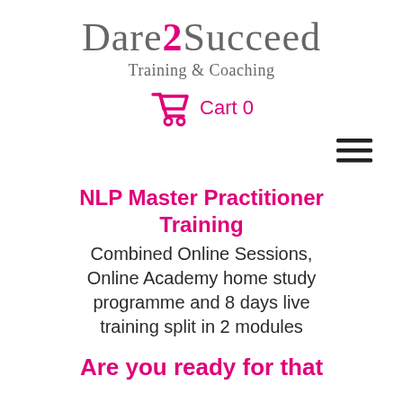[Figure (logo): Dare2Succeed Training & Coaching logo with pink '2' and grey text]
[Figure (infographic): Pink shopping cart icon with 'Cart 0' text]
[Figure (infographic): Hamburger menu icon (three horizontal lines)]
NLP Master Practitioner Training
Combined Online Sessions, Online Academy home study programme and 8 days live training split in 2 modules
Are you ready for that